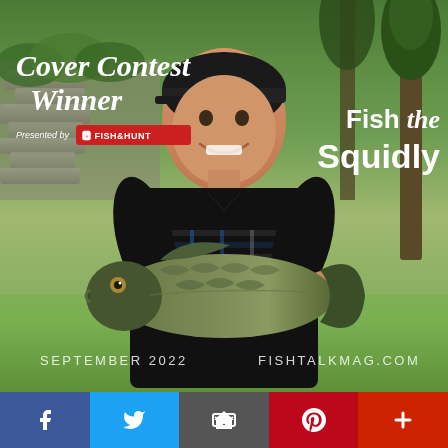[Figure (photo): Magazine cover photo: A teenage boy holding a large bass fish, smiling at the camera. He is wearing a dark t-shirt with an American flag design. Background shows green grass and trees. Text overlays on the image include 'Cover Contest Winner', 'Presented by Fish&Hunt', 'Fish the Squidly', 'SEPTEMBER 2022', 'FISHTALKMAG.COM'. Social sharing buttons are along the bottom: Facebook, Twitter, email/house icon, Pinterest, and a plus button.]
f  Twitter  [house icon]  p  +